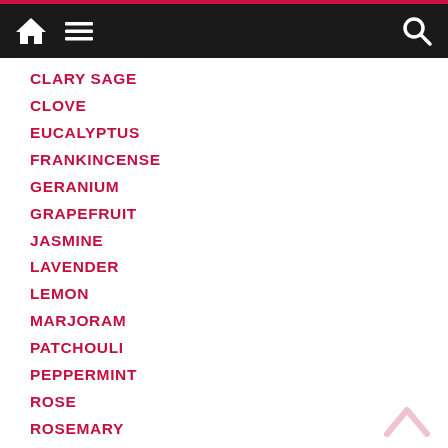Navigation bar with home, menu, and search icons
CLARY SAGE
CLOVE
EUCALYPTUS
FRANKINCENSE
GERANIUM
GRAPEFRUIT
JASMINE
LAVENDER
LEMON
MARJORAM
PATCHOULI
PEPPERMINT
ROSE
ROSEMARY
SWEET ORANGE
TEA TREE
VETIVER
YLANG YLANG